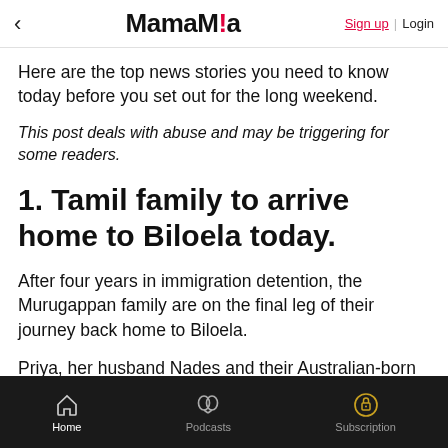< MamaMia   Sign up | Login
Here are the top news stories you need to know today before you set out for the long weekend.
This post deals with abuse and may be triggering for some readers.
1. Tamil family to arrive home to Biloela today.
After four years in immigration detention, the Murugappan family are on the final leg of their journey back home to Biloela.
Priya, her husband Nades and their Australian-born daughters Kopika, six, and Tharnicaa, four, are expected to arrive in the central Queensland town
Home   Podcasts   Subscription